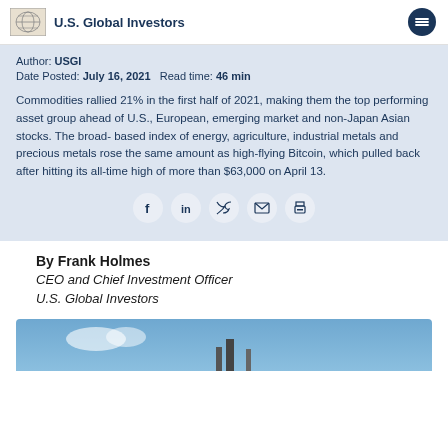U.S. Global Investors
Author: USGI
Date Posted: July 16, 2021   Read time: 46 min
Commodities rallied 21% in the first half of 2021, making them the top performing asset group ahead of U.S., European, emerging market and non-Japan Asian stocks. The broad-based index of energy, agriculture, industrial metals and precious metals rose the same amount as high-flying Bitcoin, which pulled back after hitting its all-time high of more than $63,000 on April 13.
[Figure (infographic): Social sharing icons: Facebook, LinkedIn, Twitter, Email, Print]
By Frank Holmes
CEO and Chief Investment Officer
U.S. Global Investors
[Figure (photo): Partial photo of industrial/infrastructure scene with blue sky]